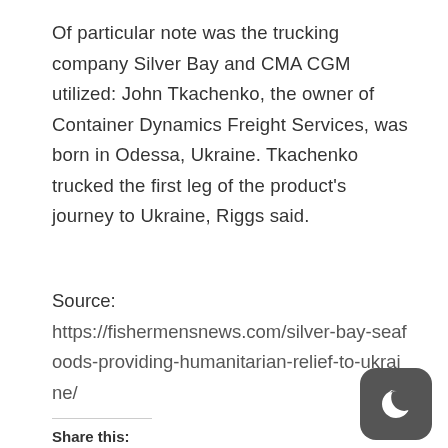Of particular note was the trucking company Silver Bay and CMA CGM utilized: John Tkachenko, the owner of Container Dynamics Freight Services, was born in Odessa, Ukraine. Tkachenko trucked the first leg of the product's journey to Ukraine, Riggs said.
Source:
https://fishermensnews.com/silver-bay-seafoods-providing-humanitarian-relief-to-ukraine/
Share this: